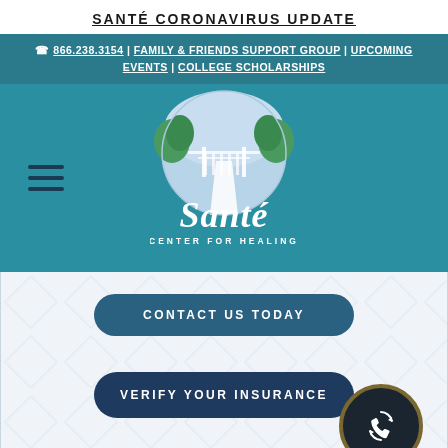SANTÉ CORONAVIRUS UPDATE
☎ 866.238.3154 | FAMILY & FRIENDS SUPPORT GROUP | UPCOMING EVENTS | COLLEGE SCHOLARSHIPS
[Figure (logo): Santé Center for Healing logo with circular landscape illustration featuring trees and a bridge, with blue/teal color scheme]
CONTACT US TODAY
VERIFY YOUR INSURANCE